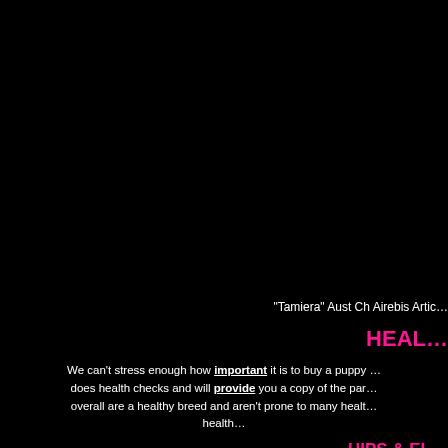"Tamiera" Aust Ch Airebis Artic…
HEAL…
We can't stress enough how important it is to buy a puppy … does health checks and will provide you a copy of the par… overall are a healthy breed and aren't prone to many healt… health…
HIPS & EL…
Hip dysplasia has been identified in the Samoyed breed on … the sire and dam prior to producing a litter to ensure their sc… of a Samoyed and then a specialist scores the xray. Hip sc… worst…